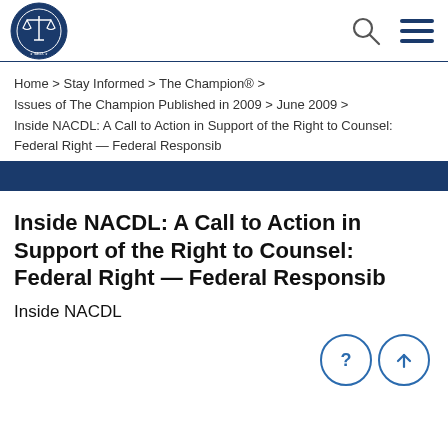[Figure (logo): NACDL National Association of Criminal Defense Lawyers circular blue seal logo with scales of justice]
Home > Stay Informed > The Champion® > Issues of The Champion Published in 2009 > June 2009 > Inside NACDL: A Call to Action in Support of the Right to Counsel: Federal Right — Federal Responsib
Inside NACDL: A Call to Action in Support of the Right to Counsel: Federal Right — Federal Responsib
Inside NACDL